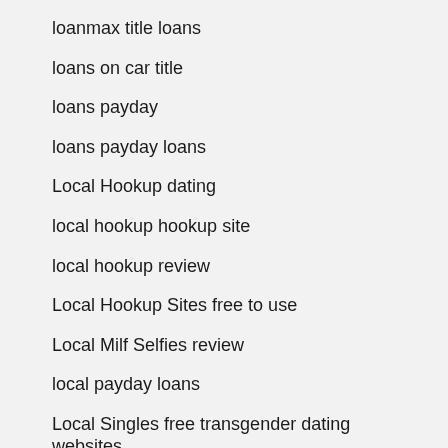loanmax title loans
loans on car title
loans payday
loans payday loans
Local Hookup dating
local hookup hookup site
local hookup review
Local Hookup Sites free to use
Local Milf Selfies review
local payday loans
Local Singles free transgender dating websites